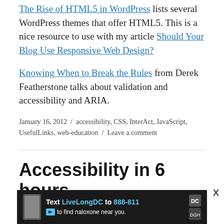The Rise of HTML5 in WordPress lists several WordPress themes that offer HTML5. This is a nice resource to use with my article Should Your Blog Use Responsive Web Design?
Knowing When to Break the Rules from Derek Featherstone talks about validation and accessibility and ARIA.
January 16, 2012 / accessibility, CSS, InterAct, JavaScript, UsefulLinks, web-education / Leave a comment
Accessibility in 6 hours
[Figure (infographic): Advertisement banner: Text LiveLongDC to 888-811 to find naloxone near you. Dark background with blue highlighted phone number text and logos.]